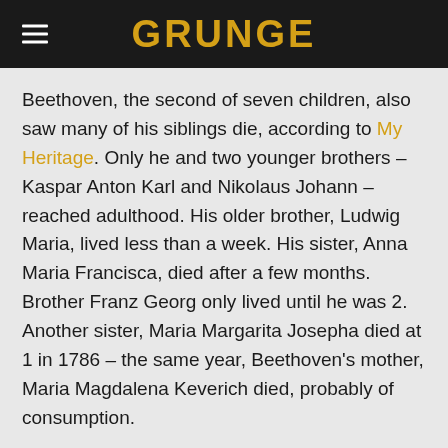GRUNGE
Beethoven, the second of seven children, also saw many of his siblings die, according to My Heritage. Only he and two younger brothers – Kaspar Anton Karl and Nikolaus Johann – reached adulthood. His older brother, Ludwig Maria, lived less than a week. His sister, Anna Maria Francisca, died after a few months. Brother Franz Georg only lived until he was 2. Another sister, Maria Margarita Josepha died at 1 in 1786 – the same year, Beethoven's mother, Maria Magdalena Keverich died, probably of consumption.
While mortality rates were not great around that time, according to Our World in Data, with life expectancies of